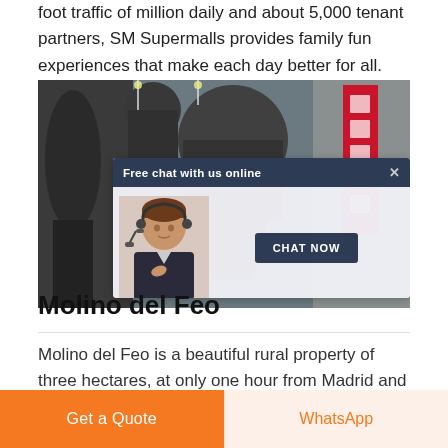foot traffic of million daily and about 5,000 tenant partners, SM Supermalls provides family fun experiences that make each day better for all.
[Figure (photo): Industrial factory interior with large machinery (cone crushers), overlaid with a live chat popup showing a customer service representative and a 'Chat Now' button. Header reads 'Free chat with us online'.]
Molino del Feo
Molino del Feo is a beautiful rural property of three hectares, at only one hour from Madrid and 15 to 20
Get a Quote
WhatsApp